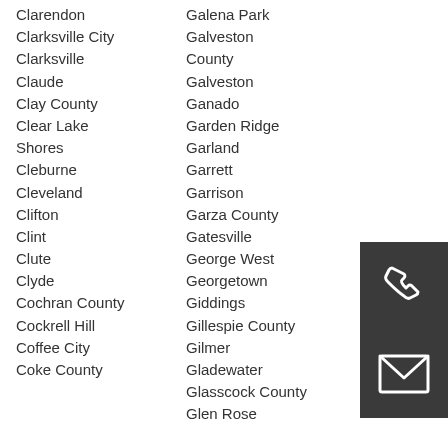Clarendon
Clarksville City
Clarksville
Claude
Clay County
Clear Lake Shores
Cleburne
Cleveland
Clifton
Clint
Clute
Clyde
Cochran County
Cockrell Hill
Coffee City
Coke County
Galena Park
Galveston County
Galveston
Ganado
Garden Ridge
Garland
Garrett
Garrison
Garza County
Gatesville
George West
Georgetown
Giddings
Gillespie County
Gilmer
Gladewater
Glasscock County
Glen Rose
[Figure (illustration): Phone handset icon on dark grey background]
[Figure (illustration): Envelope/mail icon on dark grey background]